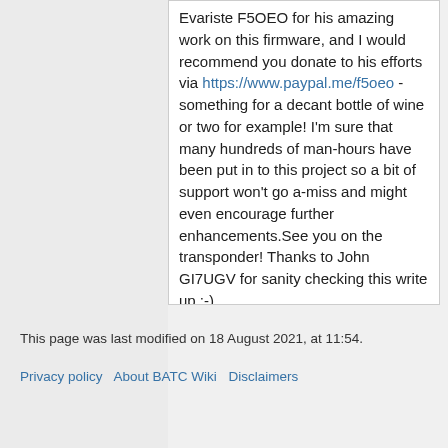Evariste F5OEO for his amazing work on this firmware, and I would recommend you donate to his efforts via https://www.paypal.me/f5oeo - something for a decant bottle of wine or two for example! I'm sure that many hundreds of man-hours have been put in to this project so a bit of support won't go a-miss and might even encourage further enhancements.See you on the transponder! Thanks to John GI7UGV for sanity checking this write up ;-)
This page was last modified on 18 August 2021, at 11:54.
Privacy policy   About BATC Wiki   Disclaimers